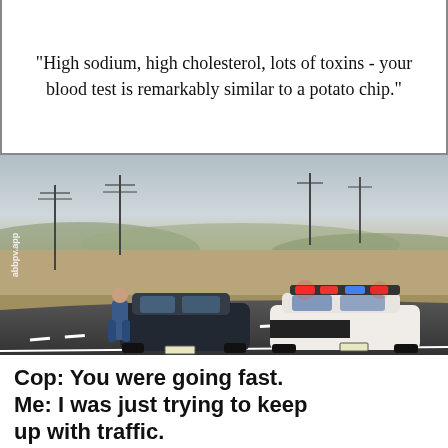“High sodium, high cholesterol, lots of toxins - your blood test is remarkably similar to a potato chip.”
[Figure (photo): A police traffic stop on a rural highway. A white police cruiser with flashing lights is pulled behind a dark sedan. A police officer in uniform stands at the driver-side window of the stopped car. The background shows a dry, open landscape with utility poles and distant hills. A watermark reads 'abbpv.app' on the left side.]
Cop: You were going fast. Me: I was just trying to keep up with traffic.